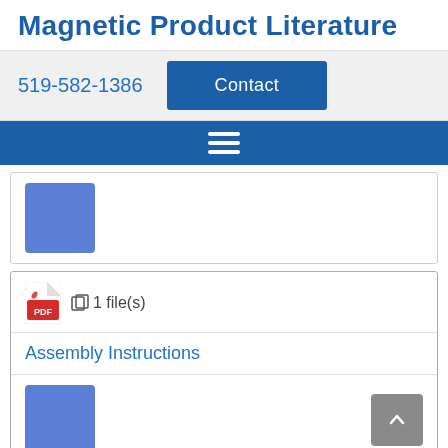Magnetic Product Literature
519-582-1386
Contact
[Figure (screenshot): Navigation hamburger menu icon with three horizontal white lines on a blue background]
[Figure (illustration): Blue square placeholder image in a white card]
[Figure (screenshot): PDF file card showing a PDF icon and '1 file(s)' text, with 'Assembly Instructions' link, a blue square placeholder, and a scroll-to-top button]